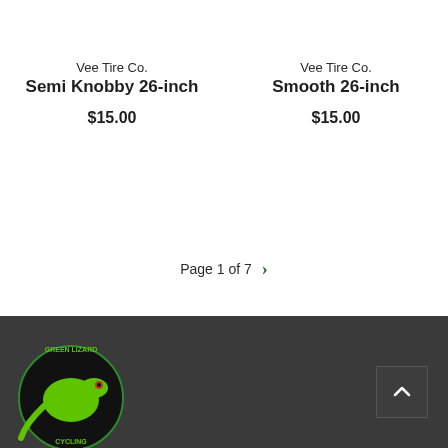Vee Tire Co.
Semi Knobby 26-inch
$15.00
Vee Tire Co.
Smooth 26-inch
$15.00
Page 1 of 7
[Figure (logo): Green Lizard Cycling circular logo with green lizard on black background]
Green Lizard Cycling footer with logo and scroll-to-top button